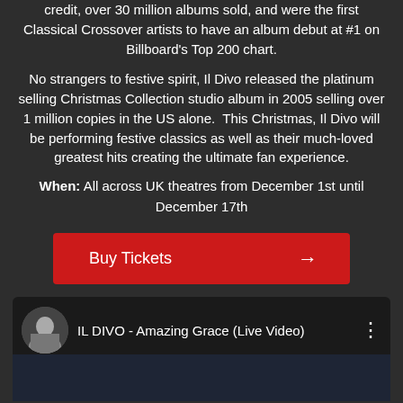credit, over 30 million albums sold, and were the first Classical Crossover artists to have an album debut at #1 on Billboard's Top 200 chart.
No strangers to festive spirit, Il Divo released the platinum selling Christmas Collection studio album in 2005 selling over 1 million copies in the US alone.  This Christmas, Il Divo will be performing festive classics as well as their much-loved greatest hits creating the ultimate fan experience.
When: All across UK theatres from December 1st until December 17th
[Figure (other): Red 'Buy Tickets' button with arrow]
[Figure (screenshot): YouTube video panel showing 'IL DIVO - Amazing Grace (Live Video)' with circular thumbnail of the group]